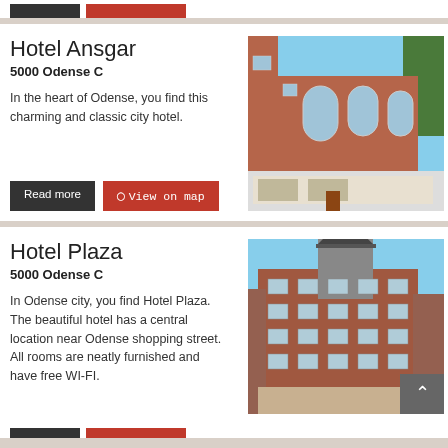[Figure (photo): Partial view of two dark buttons at the top of the page — black 'Read more' and red 'View on map']
Hotel Ansgar
5000 Odense C
In the heart of Odense, you find this charming and classic city hotel.
[Figure (photo): Exterior photo of Hotel Ansgar — a red-brick historic building with arched windows and a corner tower, blue sky background, green trees on right.]
Read more
View on map
Hotel Plaza
5000 Odense C
In Odense city, you find Hotel Plaza. The beautiful hotel has a central location near Odense shopping street. All rooms are neatly furnished and have free WI-FI.
[Figure (photo): Exterior photo of Hotel Plaza — a large historic red-brick building with a tall corner tower, multiple floors of windows, blue sky background.]
[Figure (other): Partial view of two dark buttons at the bottom — black 'Read more' and red 'View on map']